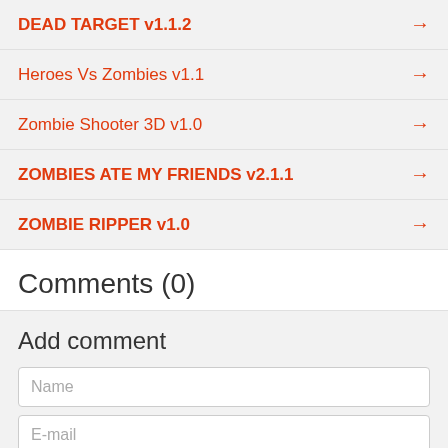DEAD TARGET v1.1.2
Heroes Vs Zombies v1.1
Zombie Shooter 3D v1.0
ZOMBIES ATE MY FRIENDS v2.1.1
ZOMBIE RIPPER v1.0
Comments (0)
Add comment
Name
E-mail
{text}